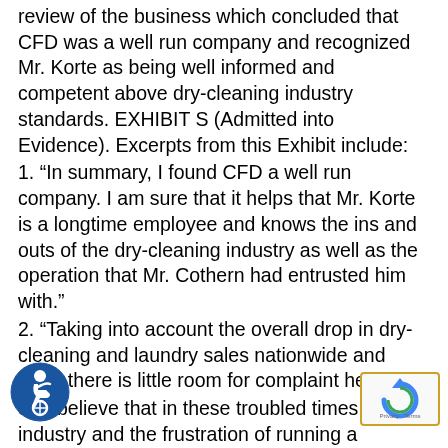review of the business which concluded that CFD was a well run company and recognized Mr. Korte as being well informed and competent above dry-cleaning industry standards. EXHIBIT S (Admitted into Evidence). Excerpts from this Exhibit include:
1. “In summary, I found CFD a well run company. I am sure that it helps that Mr. Korte is a longtime employee and knows the ins and outs of the dry-cleaning industry as well as the operation that Mr. Cothern had entrusted him with.”
2. “Taking into account the overall drop in dry-cleaning and laundry sales nationwide and 18%, there is little room for complaint here”
3. “I believe that in these troubled times of our industry and the frustration of running a company that is no longer with its owner, Mr. Cothern, that all in all Richard Korte has done a magnificent job. There are a few managers in this industry today capable of that. It is a rare and precious thing to